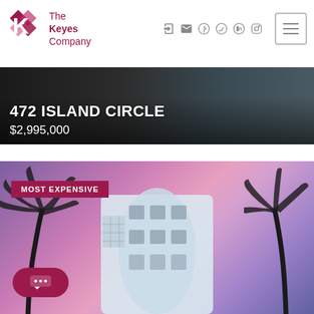[Figure (logo): The Keyes Company logo with red K diamond shape and text]
[Figure (screenshot): Navigation icons: login, email, facebook, twitter, linkedin, instagram, and hamburger menu button]
[Figure (photo): Dark exterior photo of a property with garage doors]
472 ISLAND CIRCLE
$2,995,000
[Figure (photo): Photo of a white Art Deco multi-story building with palm trees against purple/pink sunset sky, labeled MOST EXPENSIVE]
MOST EXPENSIVE